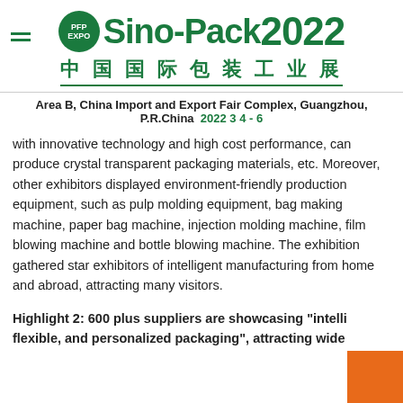[Figure (logo): Sino-Pack 2022 / PFP EXPO logo with green oval badge, bold green 'Sino-Pack' text and '2022', Chinese characters '中国国际包装工业展' below]
Area B, China Import and Export Fair Complex, Guangzhou, P.R.China  2022 3 4 - 6
with innovative technology and high cost performance, can produce crystal transparent packaging materials, etc. Moreover, other exhibitors displayed environment-friendly production equipment, such as pulp molding equipment, bag making machine, paper bag machine, injection molding machine, film blowing machine and bottle blowing machine. The exhibition gathered star exhibitors of intelligent manufacturing from home and abroad, attracting many visitors.
Highlight 2: 600 plus suppliers are showcasing "intelli flexible, and personalized packaging", attracting wide